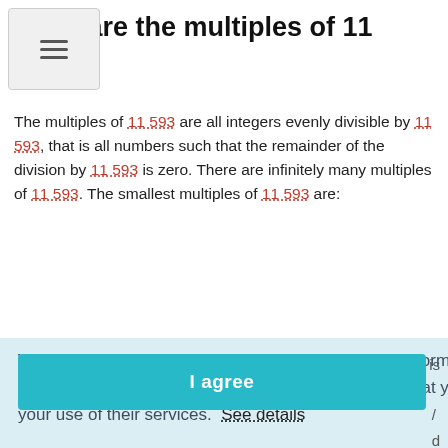What are the multiples of 11 593?
The multiples of 11 593 are all integers evenly divisible by 11 593, that is all numbers such that the remainder of the division by 11 593 is zero. There are infinitely many multiples of 11 593. The smallest multiples of 11 593 are:
d it is
/ d
We use cookies to personalise ads. We also share information about your use of our site with our advertising partners who may combine it with other information that you've provided to them or that they've collected from your use of their services. See details
I agree